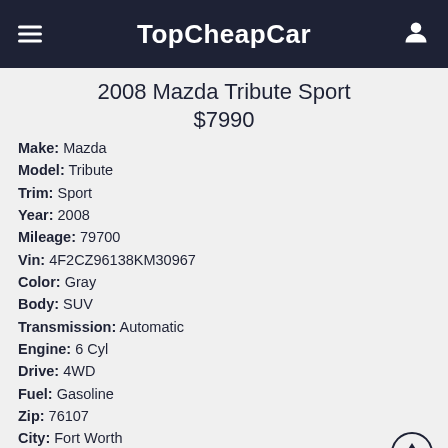TopCheapCar
2008 Mazda Tribute Sport $7990
Make: Mazda
Model: Tribute
Trim: Sport
Year: 2008
Mileage: 79700
Vin: 4F2CZ96138KM30967
Color: Gray
Body: SUV
Transmission: Automatic
Engine: 6 Cyl
Drive: 4WD
Fuel: Gasoline
Zip: 76107
City: Fort Worth
State: TX